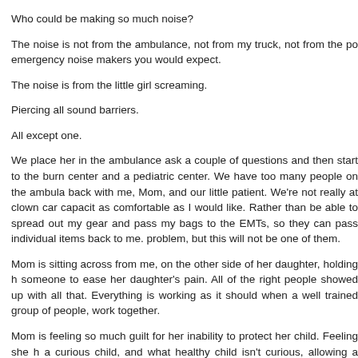Who could be making so much noise?
The noise is not from the ambulance, not from my truck, not from the po emergency noise makers you would expect.
The noise is from the little girl screaming.
Piercing all sound barriers.
All except one.
We place her in the ambulance ask a couple of questions and then start to the burn center and a pediatric center. We have too many people on the ambula back with me, Mom, and our little patient. We're not really at clown car capacit as comfortable as I would like. Rather than be able to spread out my gear and pass my bags to the EMTs, so they can pass individual items back to me. problem, but this will not be one of them.
Mom is sitting across from me, on the other side of her daughter, holding h someone to ease her daughter's pain. All of the right people showed up with all that. Everything is working as it should when a well trained group of people, work together.
Mom is feeling so much guilt for her inability to protect her child. Feeling she h a curious child, and what healthy child isn't curious, allowing a curious child to s her.